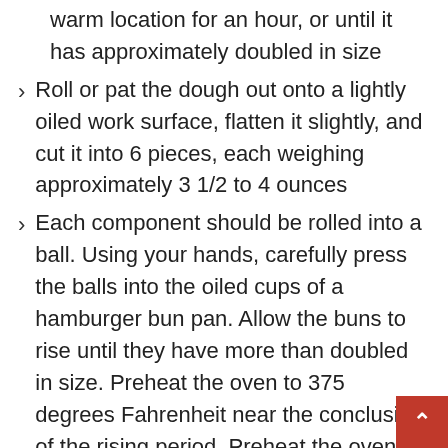warm location for an hour, or until it has approximately doubled in size
Roll or pat the dough out onto a lightly oiled work surface, flatten it slightly, and cut it into 6 pieces, each weighing approximately 3 1/2 to 4 ounces
Each component should be rolled into a ball. Using your hands, carefully press the balls into the oiled cups of a hamburger bun pan. Allow the buns to rise until they have more than doubled in size. Preheat the oven to 375 degrees Fahrenheit near the conclusion of the rising period. Preheat the oven to 350°F and bake the buns for 10 minutes. As